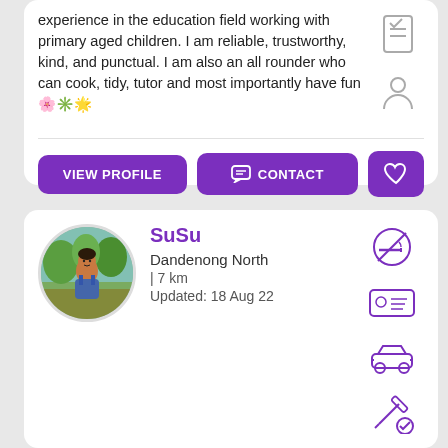experience in the education field working with primary aged children. I am reliable, trustworthy, kind, and punctual. I am also an all rounder who can cook, tidy, tutor and most importantly have fun 🌸🌟
VIEW PROFILE
CONTACT
[Figure (illustration): Heart button (favorite)]
SuSu
Dandenong North | 7 km
Updated: 18 Aug 22
[Figure (photo): Circular profile photo of SuSu, a young woman standing outdoors with garden/foliage background]
[Figure (illustration): No smoking icon]
[Figure (illustration): ID card / credential icon]
[Figure (illustration): Car icon]
[Figure (illustration): Vaccination/needle icon with checkmark]
Looking for: Part-time,Casual Babysitting
Hi there :) my name is Susu, I am 24...